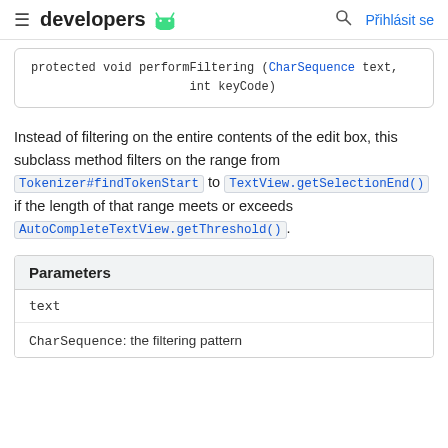≡ developers 🤖   🔍  Přihlásit se
protected void performFiltering (CharSequence text,
    int keyCode)
Instead of filtering on the entire contents of the edit box, this subclass method filters on the range from Tokenizer#findTokenStart to TextView.getSelectionEnd() if the length of that range meets or exceeds AutoCompleteTextView.getThreshold().
| Parameters |
| --- |
| text | CharSequence: the filtering pattern |